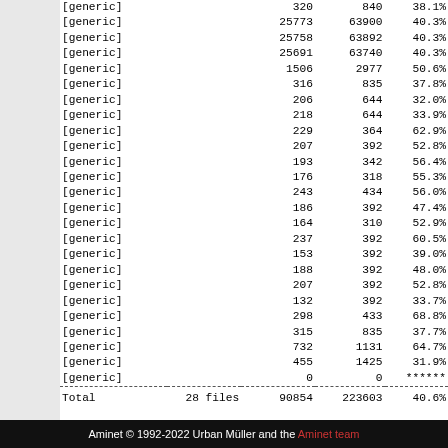| Label | Files | Count1 | Count2 | Pct |
| --- | --- | --- | --- | --- |
| [generic] |  | 320 | 840 | 38.1% |
| [generic] |  | 25773 | 63900 | 40.3% |
| [generic] |  | 25758 | 63892 | 40.3% |
| [generic] |  | 25691 | 63740 | 40.3% |
| [generic] |  | 1506 | 2977 | 50.6% |
| [generic] |  | 316 | 835 | 37.8% |
| [generic] |  | 206 | 644 | 32.0% |
| [generic] |  | 218 | 644 | 33.9% |
| [generic] |  | 229 | 364 | 62.9% |
| [generic] |  | 207 | 392 | 52.8% |
| [generic] |  | 193 | 342 | 56.4% |
| [generic] |  | 176 | 318 | 55.3% |
| [generic] |  | 243 | 434 | 56.0% |
| [generic] |  | 186 | 392 | 47.4% |
| [generic] |  | 164 | 310 | 52.9% |
| [generic] |  | 237 | 392 | 60.5% |
| [generic] |  | 153 | 392 | 39.0% |
| [generic] |  | 188 | 392 | 48.0% |
| [generic] |  | 207 | 392 | 52.8% |
| [generic] |  | 132 | 392 | 33.7% |
| [generic] |  | 298 | 433 | 68.8% |
| [generic] |  | 315 | 835 | 37.7% |
| [generic] |  | 732 | 1131 | 64.7% |
| [generic] |  | 455 | 1425 | 31.9% |
| [generic] |  | 0 | 0 | ****** |
| Total | 28 files | 90854 | 223603 | 40.6% |
Aminet © 1992-2022 Urban Müller and the Aminet team